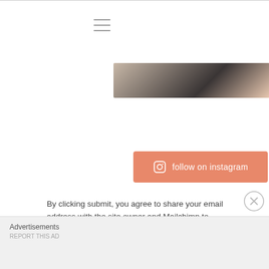[Figure (photo): Partial photo of a person, cropped at top of page]
[Figure (illustration): Instagram follow button with icon, salmon/coral colored, text: follow on instagram]
Enter your email
Join my email list
By clicking submit, you agree to share your email address with the site owner and Mailchimp to receive marketing, updates, and other emails from the site owner. Use the unsubscribe link in those emails to opt out at
Advertisements